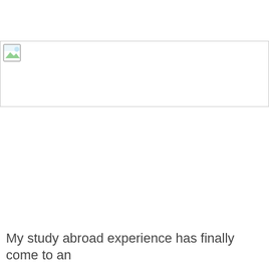[Figure (photo): A broken/missing image placeholder with a small landscape icon in the top-left corner, shown as a bordered rectangle spanning the width of the page.]
My study abroad experience has finally come to an